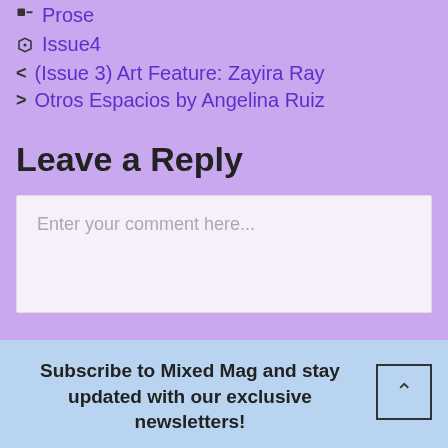Prose
Issue4
(Issue 3) Art Feature: Zayira Ray
Otros Espacios by Angelina Ruiz
Leave a Reply
Enter your comment here...
Subscribe to Mixed Mag and stay updated with our exclusive newsletters!